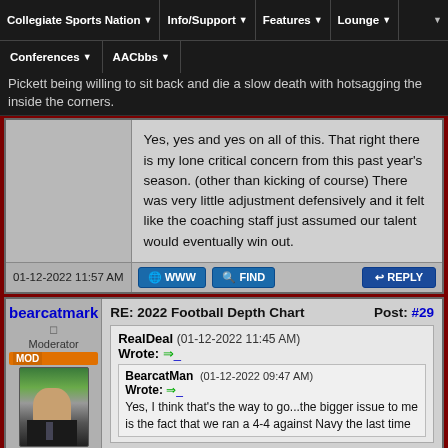Collegiate Sports Nation | Info/Support | Features | Lounge | Conferences | AACbbs
Pickett being willing to sit back and die a slow death with hotsagging the inside the corners.
Yes, yes and yes on all of this. That right there is my lone critical concern from this past year's season. (other than kicking of course) There was very little adjustment defensively and it felt like the coaching staff just assumed our talent would eventually win out.
01-12-2022 11:57 AM
bearcatmark
Moderator
Posts: 27,099
Joined: Dec 2006
Reputation: 617
RE: 2022 Football Depth Chart   Post: #29
RealDeal Wrote: (01-12-2022 11:45 AM)
BearcatMan (01-12-2022 09:47 AM) Wrote:
Yes, I think that's the way to go...the bigger issue to me is the fact that we ran a 4-4 against Navy the last time